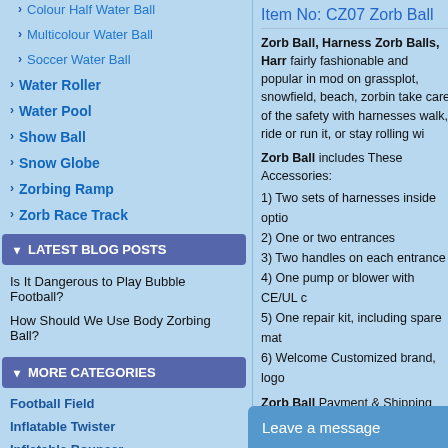Colour Half Water Ball
Multicolour Water Ball
Soccer Water Ball
Water Roller
Water Pool
Show Ball
Snow Globe
Zorbing Ramp
Zorb Race Track
LATEST BLOG POSTS
Is It Dangerous to Play Bubble Football?
How Should We Use Body Zorbing Ball?
MORE CATEGORIES
Football Field
Inflatable Twister
Inflatable Bouncer
Item No: CZ07 Zorb Ball
Zorb Ball, Harness Zorb Balls, Harr... fairly fashionable and popular in mod... on grassplot, snowfield, beach, zorbin... take care of the safety with harnesses... walk, ride or run it, or stay rolling wi...
Zorb Ball includes These Accessories:
1) Two sets of harnesses inside optio...
2) One or two entrances
3) Two handles on each entrance
4) One pump or blower with CE/UL c...
5) One repair kit, including spare mat...
6) Welcome Customized brand, logo ...
Zorb Ball Payment & Shipping Term...
1) Price Terms: EXW, FOB, CFR, CI...
2) Shipping Cost: to be offered based...
3) Delivery: by courier(EMS, DHL, F...
Leave a message